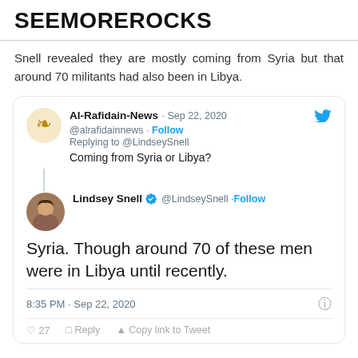SEEMOREROCKS
Snell revealed they are mostly coming from Syria but that around 70 militants had also been in Libya.
[Figure (screenshot): Embedded tweet screenshot showing a reply from Al-Rafidain-News (@alrafidainnews) dated Sep 22, 2020 asking 'Coming from Syria or Libya?' replying to @LindseySnell, and Lindsey Snell's (@LindseySnell) main tweet: 'Syria. Though around 70 of these men were in Libya until recently.' posted at 8:35 PM · Sep 22, 2020]
Snell also uploaded a voice recording of a militant